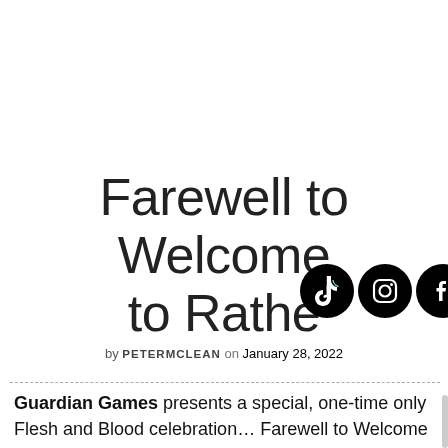Farewell to Welcome to Rathe
[Figure (other): Social media icons: TikTok, Instagram, Facebook, YouTube, RSS feed — black circular icons overlapping the title text]
by PETERMCLEAN on January 28, 2022
Guardian Games presents a special, one-time only Flesh and Blood celebration… Farewell to Welcome to Rathe! Flesh and Blood's